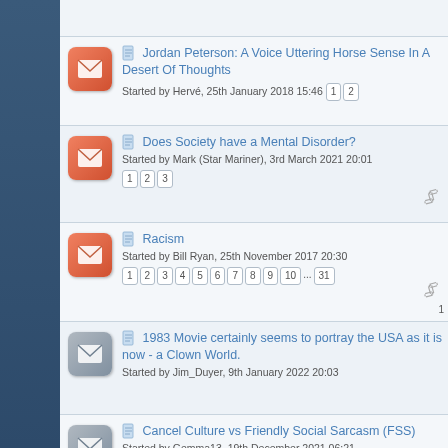Jordan Peterson: A Voice Uttering Horse Sense In A Desert Of Thoughts
Started by Hervé, 25th January 2018 15:46 [1][2]
Does Society have a Mental Disorder?
Started by Mark (Star Mariner), 3rd March 2021 20:01 [1][2][3]
Racism
Started by Bill Ryan, 25th November 2017 20:30 [1][2][3][4][5][6][7][8][9][10]...[31]
1983 Movie certainly seems to portray the USA as it is now - a Clown World.
Started by Jim_Duyer, 9th January 2022 20:03
Cancel Culture vs Friendly Social Sarcasm (FSS)
Started by Gemma13, 19th December 2021 06:21
Controversy!! Former officer reacts at...